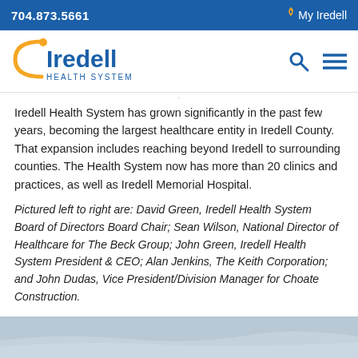704.873.5661    My Iredell
[Figure (logo): Iredell Health System logo with search and menu icons]
Iredell Health System has grown significantly in the past few years, becoming the largest healthcare entity in Iredell County. That expansion includes reaching beyond Iredell to surrounding counties. The Health System now has more than 20 clinics and practices, as well as Iredell Memorial Hospital.
Pictured left to right are: David Green, Iredell Health System Board of Directors Board Chair; Sean Wilson, National Director of Healthcare for The Beck Group; John Green, Iredell Health System President & CEO; Alan Jenkins, The Keith Corporation; and John Dudas, Vice President/Division Manager for Choate Construction.
[Figure (photo): Partial photo visible at bottom of page, appears to be an outdoor/sky scene]